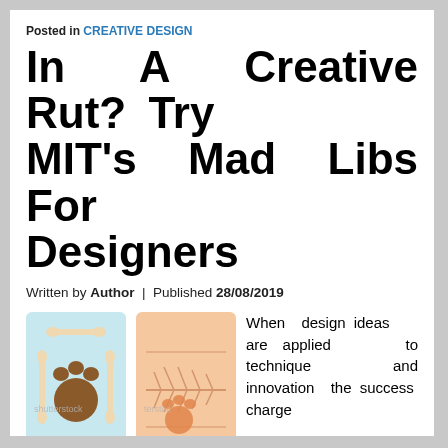Posted in CREATIVE DESIGN
In A Creative Rut? Try MIT's Mad Libs For Designers
Written by Author | Published 28/08/2019
[Figure (illustration): Two illustrated squares side by side: left one is light blue with cartoon dog bones and a brown paw print; right one is light peach/orange with a fish skeleton and orange paw print. Shutterstock watermark visible. Caption: www.shutterstock.com · 184404869]
When design ideas are applied to technique and innovation the success charge for innovation dramatically improves. The programme is designed for individuals who come from...